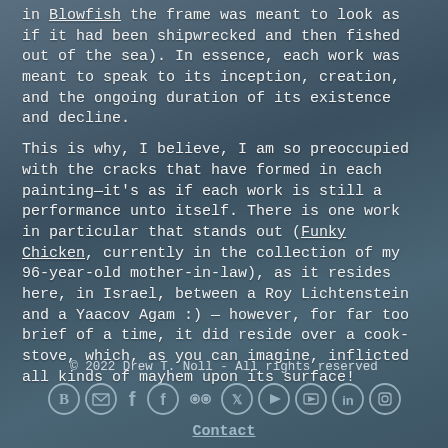in Blowfish the frame was meant to look as if it had been shipwrecked and then fished out of the sea). In essence, each work was meant to speak to its inception, creation, and the ongoing duration of its existence and decline.
This is why, I believe, I am so preoccupied with the cracks that have formed in each painting—it's as if each work is still a performance unto itself. There is one work in particular that stands out (Funky Chicken, currently in the collection of my 96-year-old mother-in-law), as it resides here, in Israel, between a Roy Lichtenstein and a Yaacov Agam :) — however, for far too brief of a time, it did reside over a cook-stove, which, as you can imagine, inflicted all kinds of mayhem upon its surface!
© 2022 Drew T. Noll - All rights reserved
Contact